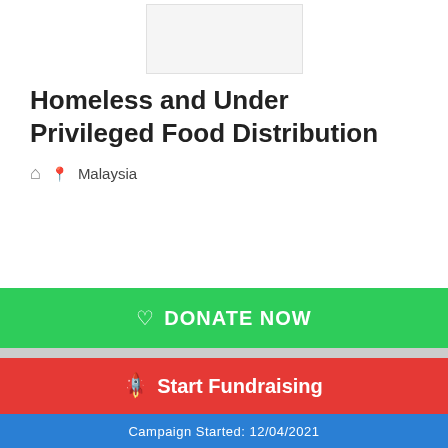[Figure (other): Campaign image placeholder (white/light gray rectangle)]
Homeless and Under Privileged Food Distribution
🏠  📍Malaysia
RAISED SO FAR
MYR 221,797
TARGET : MYR 500,000
♡  DONATE NOW
🚀  Start Fundraising
Campaign Started: 12/04/2021